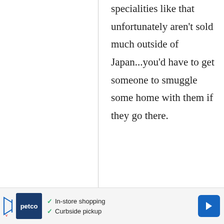specialities like that unfortunately aren't sold much outside of Japan...you'd have to get someone to smuggle some home with them if they go there.
anon.
29
hiiiiiiiiiiiiiiiiiiiiiiiiiiiiiiiiii
[Figure (other): Advertisement banner for Petco with checkmarks for In-store shopping and Curbside pickup, Petco logo, play/forward icon, and a blue navigation arrow button]